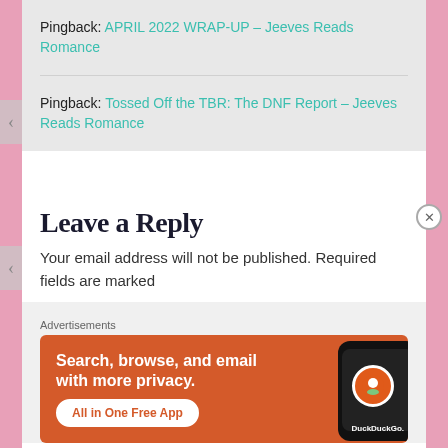Pingback: APRIL 2022 WRAP-UP – Jeeves Reads Romance
Pingback: Tossed Off the TBR: The DNF Report – Jeeves Reads Romance
Leave a Reply
Your email address will not be published. Required fields are marked
Advertisements
[Figure (screenshot): DuckDuckGo advertisement: orange background with phone mockup, text 'Search, browse, and email with more privacy. All in One Free App', DuckDuckGo logo]